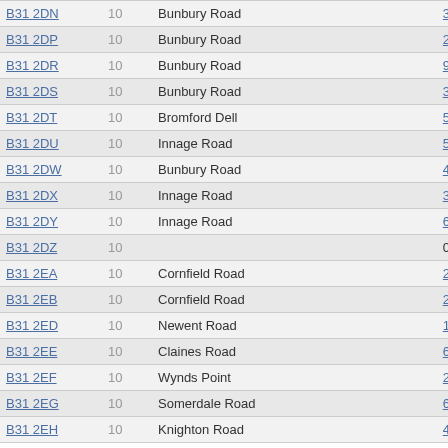| Postcode | Density | Street | Count |
| --- | --- | --- | --- |
| B31 2DN | 10 | Bunbury Road | 3 |
| B31 2DP | 10 | Bunbury Road | 2 |
| B31 2DR | 10 | Bunbury Road | 9 |
| B31 2DS | 10 | Bunbury Road | 3 |
| B31 2DT | 10 | Bromford Dell | 5 |
| B31 2DU | 10 | Innage Road | 5 |
| B31 2DW | 10 | Bunbury Road | 4 |
| B31 2DX | 10 | Innage Road | 3 |
| B31 2DY | 10 | Innage Road | 6 |
| B31 2DZ | 10 |  | 0 |
| B31 2EA | 10 | Cornfield Road | 2 |
| B31 2EB | 10 | Cornfield Road | 2 |
| B31 2ED | 10 | Newent Road | 1 |
| B31 2EE | 10 | Claines Road | 6 |
| B31 2EF | 10 | Wynds Point | 2 |
| B31 2EG | 10 | Somerdale Road | 6 |
| B31 2EH | 10 | Knighton Road | 4 |